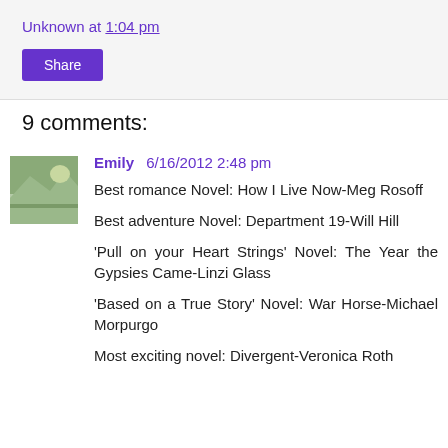Unknown at 1:04 pm
Share
9 comments:
Emily  6/16/2012 2:48 pm
Best romance Novel: How I Live Now-Meg Rosoff
Best adventure Novel: Department 19-Will Hill
'Pull on your Heart Strings' Novel: The Year the Gypsies Came-Linzi Glass
'Based on a True Story' Novel: War Horse-Michael Morpurgo
Most exciting novel: Divergent-Veronica Roth